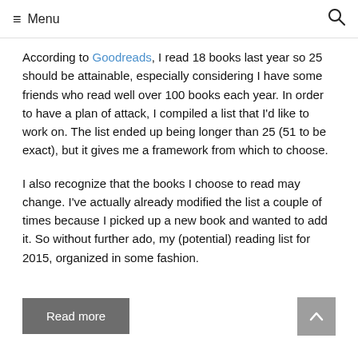≡ Menu  🔍
According to Goodreads, I read 18 books last year so 25 should be attainable, especially considering I have some friends who read well over 100 books each year. In order to have a plan of attack, I compiled a list that I'd like to work on. The list ended up being longer than 25 (51 to be exact), but it gives me a framework from which to choose.
I also recognize that the books I choose to read may change. I've actually already modified the list a couple of times because I picked up a new book and wanted to add it. So without further ado, my (potential) reading list for 2015, organized in some fashion.
Read more